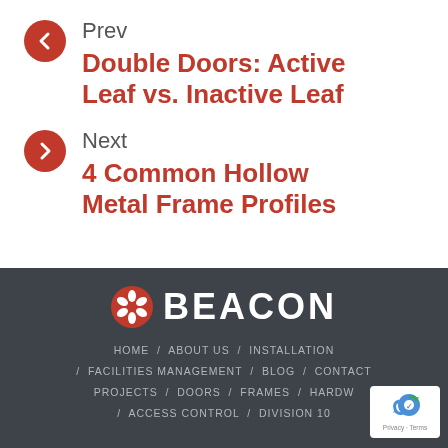Prev
Double Doors: Active Leaf vs. Inactive Leaf
Next
4 Common Hollow Metal Frame Profiles
[Figure (logo): Beacon company logo with red pinwheel icon and white BEACON text on dark background]
HOME / ABOUT US / INSTALLATION / FACILITIES MANAGEMENT / BLOG / CONTACT PROJECTS / DOORS / FRAMES / HARDWARE / ACCESS CONTROL / DIVISION 10